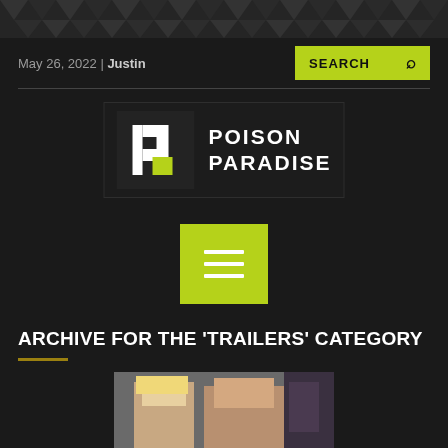May 26, 2022 | Justin
[Figure (logo): Poison Paradise logo with stylized P icon and text POISON PARADISE]
[Figure (other): Green hamburger menu button]
ARCHIVE FOR THE 'TRAILERS' CATEGORY
[Figure (photo): Photo of a blonde woman and a shirtless man]